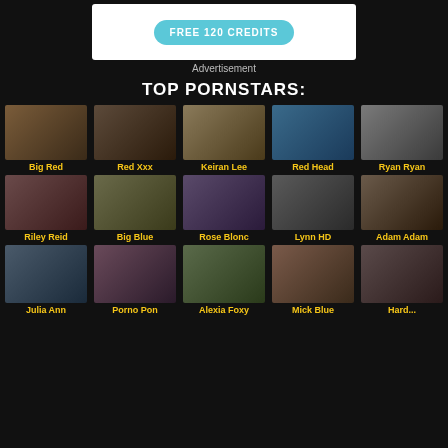[Figure (other): Advertisement banner with FREE 120 CREDITS button in teal/cyan rounded rectangle on white background]
Advertisement
TOP PORNSTARS:
[Figure (other): Grid of pornstar thumbnails row 1: Big Red, Red Xxx, Keiran Lee, Red Head, Ryan Ryan]
[Figure (other): Grid of pornstar thumbnails row 2: Riley Reid, Big Blue, Rose Blonc, Lynn HD, Adam Adam]
[Figure (other): Grid of pornstar thumbnails row 3: Julia Ann, Porno Pon, Alexia Foxy, Mick Blue, Hard...]